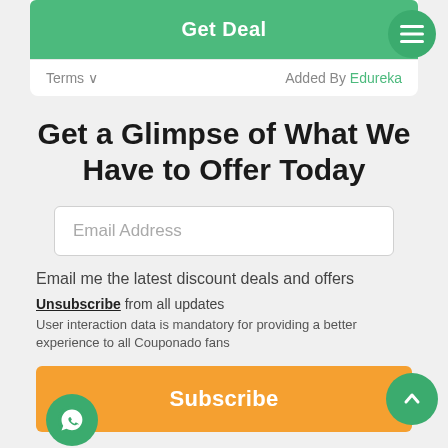Get Deal
Terms ∨   Added By Edureka
Get a Glimpse of What We Have to Offer Today
Email Address
Email me the latest discount deals and offers
Unsubscribe from all updates
User interaction data is mandatory for providing a better experience to all Couponado fans
Subscribe